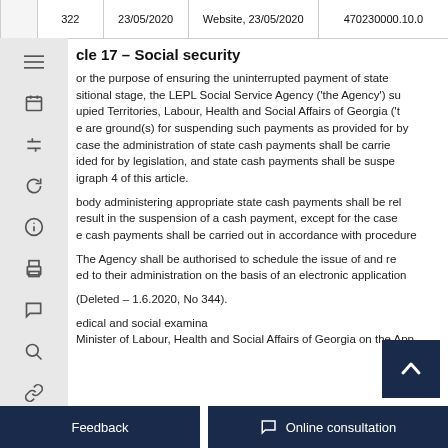|  | 322 | 23/05/2020 | Website, 23/05/2020 | 470230000.10.0 |
| --- | --- | --- | --- | --- |
Article 17 – Social security
For the purpose of ensuring the uninterrupted payment of state ... transitional stage, the LEPL Social Service Agency ('the Agency') sub... occupied Territories, Labour, Health and Social Affairs of Georgia ('t... there are ground(s) for suspending such payments as provided for by... In case the administration of state cash payments shall be carrie... provided for by legislation, and state cash payments shall be suspe... paragraph 4 of this article.
The body administering appropriate state cash payments shall be rele... that result in the suspension of a cash payment, except for the case... state cash payments shall be carried out in accordance with procedure...
The Agency shall be authorised to schedule the issue of and re... related to their administration on the basis of an electronic application...
(Deleted – 1.6.2020, No 344).
... medical and social examina... Minister of Labour, Health and Social Affairs of Georgia on the App...